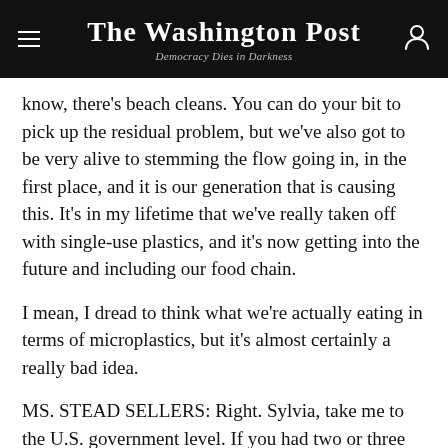The Washington Post — Democracy Dies in Darkness
know, there's beach cleans. You can do your bit to pick up the residual problem, but we've also got to be very alive to stemming the flow going in, in the first place, and it is our generation that is causing this. It's in my lifetime that we've really taken off with single-use plastics, and it's now getting into the future and including our food chain.
I mean, I dread to think what we're actually eating in terms of microplastics, but it's almost certainly a really bad idea.
MS. STEAD SELLERS: Right. Sylvia, take me to the U.S. government level. If you had two or three